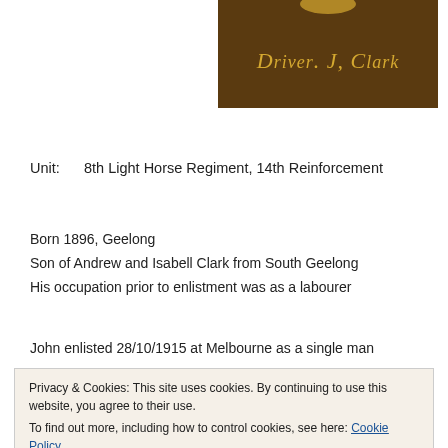[Figure (photo): Dark brown background with gold/yellow italic text reading 'Driver. J. Clark' in a stylized font, with a partially visible decorative element at top]
Unit:      8th Light Horse Regiment, 14th Reinforcement
Born 1896, Geelong
Son of Andrew and Isabell Clark from South Geelong
His occupation prior to enlistment was as a labourer
John enlisted 28/10/1915 at Melbourne as a single man
Privacy & Cookies: This site uses cookies. By continuing to use this website, you agree to their use.
To find out more, including how to control cookies, see here: Cookie Policy
Close and accept